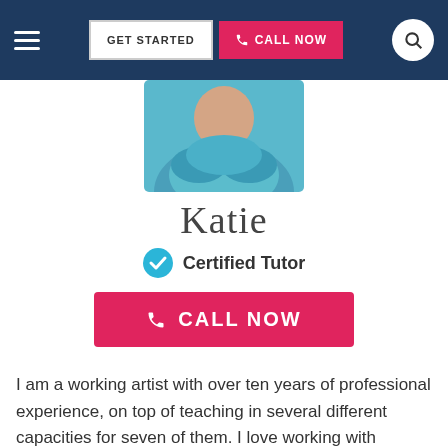GET STARTED | CALL NOW
[Figure (photo): Profile photo of Katie, a certified tutor wearing a teal/blue scarf]
Katie
Certified Tutor
CALL NOW
I am a working artist with over ten years of professional experience, on top of teaching in several different capacities for seven of them. I love working with students on a one-on-one basis, and use a warm, humorous approach to put students at ease and take the pressure off